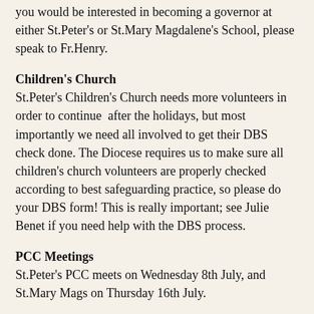you would be interested in becoming a governor at either St.Peter's or St.Mary Magdalene's School, please speak to Fr.Henry.
Children's Church
St.Peter's Children's Church needs more volunteers in order to continue  after the holidays, but most importantly we need all involved to get their DBS check done. The Diocese requires us to make sure all children's church volunteers are properly checked according to best safeguarding practice, so please do your DBS form! This is really important; see Julie Benet if you need help with the DBS process.
PCC Meetings
St.Peter's PCC meets on Wednesday 8th July, and St.Mary Mags on Thursday 16th July.
Dates for the Diary
June
30th Eucharist 10am St Peter's